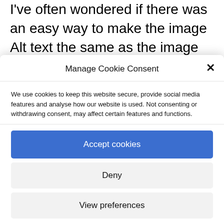I've often wondered if there was an easy way to make the image Alt text the same as the image title but without installing an add-in (which seemed like overkill). Could the code above be modified, removing the other
Manage Cookie Consent
We use cookies to keep this website secure, provide social media features and analyse how our website is used. Not consenting or withdrawing consent, may affect certain features and functions.
Accept cookies
Deny
View preferences
Cookie Policy   Privacy Policy